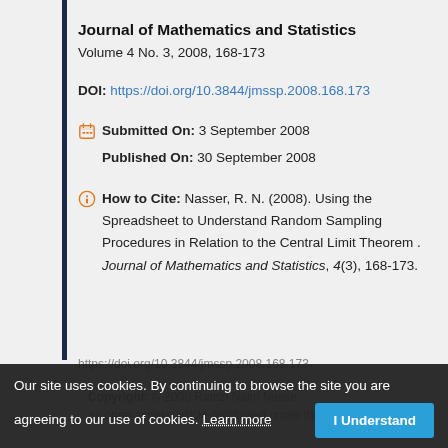Journal of Mathematics and Statistics
Volume 4 No. 3, 2008, 168-173
DOI: https://doi.org/10.3844/jmssp.2008.168.173
Submitted On: 3 September 2008
Published On: 30 September 2008
How to Cite: Nasser, R. N. (2008). Using the Spreadsheet to Understand Random Sampling Procedures in Relation to the Central Limit Theorem. Journal of Mathematics and Statistics, 4(3), 168-173. https://doi.org/10.3844/jmssp.2008.168.173
Our site uses cookies. By continuing to browse the site you are agreeing to our use of cookies. Learn more
Copyright: © 2008 Ramzi Naim Nasser. ... an open access article distributed under the terms